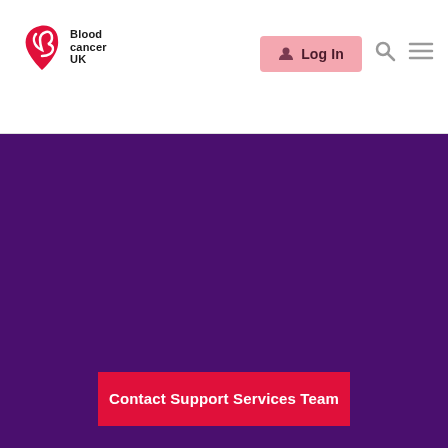[Figure (logo): Blood Cancer UK logo with red stylized letter B and text 'Blood cancer UK']
Log In
[Figure (screenshot): Purple background section of a Blood Cancer UK website page with a red bar at top and a red 'Contact Support Services Team' button at bottom]
Contact Support Services Team